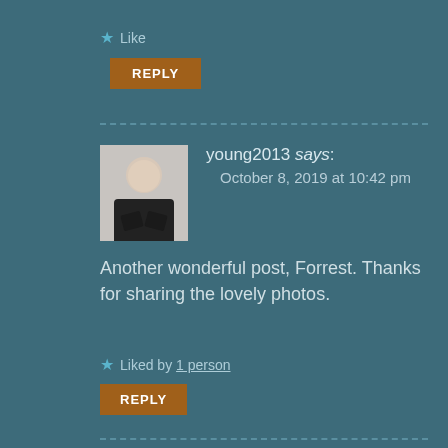★ Like
REPLY
young2013 says: October 8, 2019 at 10:42 pm
[Figure (photo): Avatar photo of young2013 - person in dark clothing with arms crossed]
Another wonderful post, Forrest. Thanks for sharing the lovely photos.
★ Liked by 1 person
REPLY